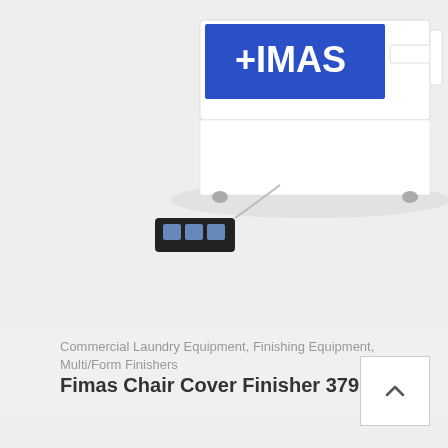[Figure (photo): Fimas commercial laundry finishing equipment machine (chair cover finisher) with blue branding panel showing '+IMAS' logo, white body, and a black foot pedal control connected by cable. Shown from a three-quarter perspective view.]
Commercial Laundry Equipment, Finishing Equipment, Multi/Form Finishers
Fimas Chair Cover Finisher 379.32
[Figure (photo): Technical/schematic style photo of the Fimas Chair Cover Finisher 379.32 showing a horizontal rail/bar assembly with hanging hook mechanism, displayed from a side/front view on a light gray background. A white scroll-up button with chevron arrow is visible in the upper right.]